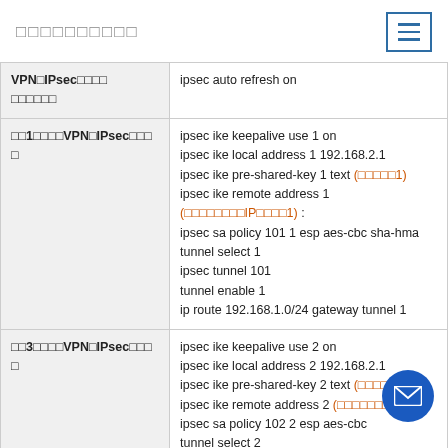□□□□□□□□□□
| Label | Command |
| --- | --- |
| VPN□IPsec□□□□ □□□□□□ | ipsec auto refresh on |
| □□1□□□□VPN□IPsec□□□□ | ipsec ike keepalive use 1 on
ipsec ike local address 1 192.168.2.1
ipsec ike pre-shared-key 1 text (□□□□□1)
ipsec ike remote address 1 (□□□□□□□□IP□□□□1) :
ipsec sa policy 101 1 esp aes-cbc sha-hma
tunnel select 1
ipsec tunnel 101
tunnel enable 1
ip route 192.168.1.0/24 gateway tunnel 1 |
| □□3□□□□VPN□IPsec□□□□ | ipsec ike keepalive use 2 on
ipsec ike local address 2 192.168.2.1
ipsec ike pre-shared-key 2 text (□□□□□3)
ipsec ike remote address 2 (□□□□□□□□IP□ :
ipsec sa policy 102 2 esp aes-cbc
tunnel select 2
ipsec tunnel 102 |